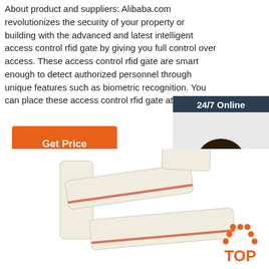About product and suppliers: Alibaba.com revolutionizes the security of your property or building with the advanced and latest intelligent access control rfid gate by giving you full control over access. These access control rfid gate are smart enough to detect authorized personnel through unique features such as biometric recognition. You can place these access control rfid gate at ...
[Figure (other): Orange 'Get Price' button]
[Figure (other): 24/7 Online chat widget with photo of female customer service representative wearing headset, 'Click here for free chat!' text, and orange QUOTATION button]
[Figure (photo): Product photo showing white RFID tags/cards scattered on white background, with a red TOP badge in the lower right corner]